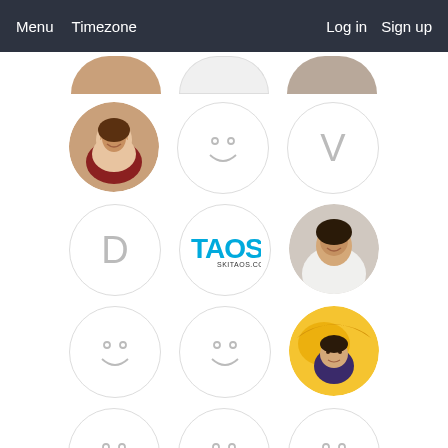Menu  Timezone  Log in  Sign up
[Figure (screenshot): Grid of user profile avatars including photos of real people, placeholder smiley faces, a letter V avatar, a letter D avatar, and a TAOS ski logo avatar.]